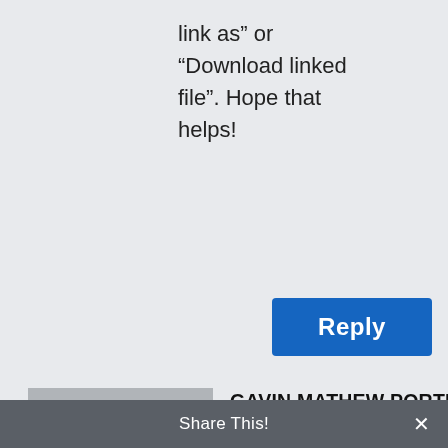link as” or “Download linked file”. Hope that helps!
Reply
[Figure (illustration): Generic user avatar placeholder icon (grey background with white silhouette of a person)]
GAVIN MATHEW PORTER on February 13, 2018 at 3:43 pm
My dad printed out the circle and ellipses exercises. I had to do both a few times. But I do feel …
Share This!